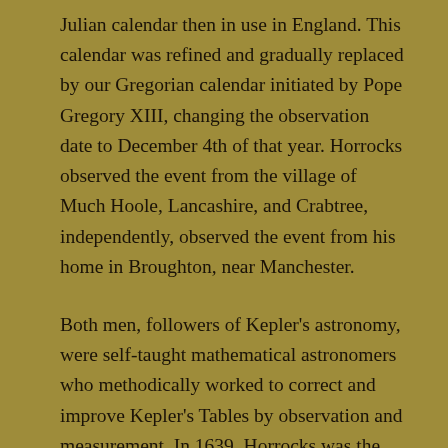Julian calendar then in use in England. This calendar was refined and gradually replaced by our Gregorian calendar initiated by Pope Gregory XIII, changing the observation date to December 4th of that year. Horrocks observed the event from the village of Much Hoole, Lancashire, and Crabtree, independently, observed the event from his home in Broughton, near Manchester.

Both men, followers of Kepler's astronomy, were self-taught mathematical astronomers who methodically worked to correct and improve Kepler's Tables by observation and measurement. In 1639, Horrocks was the only astronomer who realized that the transit of Venus was imminent; others became aware only upon receiving Horrocks's report. The two men's observations and later mathematical work were